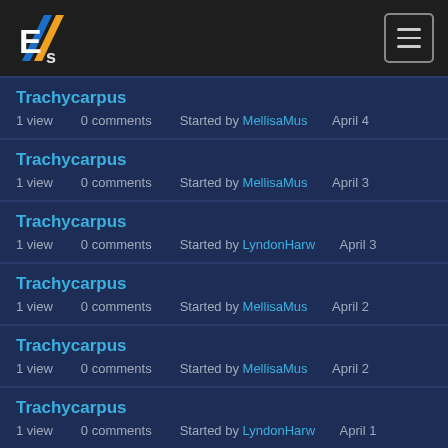EHS logo and navigation menu
Trachycarpus — 1 view, 0 comments, Started by MellisaMus, April 4
Trachycarpus — 1 view, 0 comments, Started by MellisaMus, April 3
Trachycarpus — 1 view, 0 comments, Started by LyndonHarw, April 3
Trachycarpus — 1 view, 0 comments, Started by MellisaMus, April 2
Trachycarpus — 1 view, 0 comments, Started by MellisaMus, April 2
Trachycarpus — 1 view, 0 comments, Started by LyndonHarw, April 1